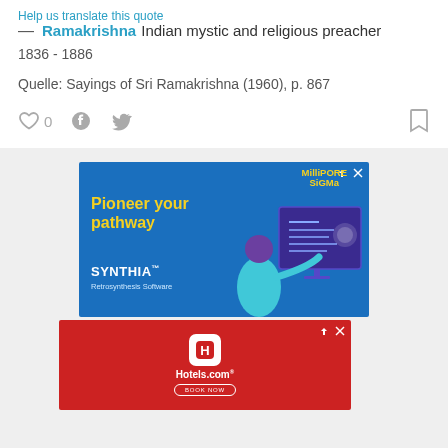Help us translate this quote
— Ramakrishna Indian mystic and religious preacher
1836 - 1886
Quelle: Sayings of Sri Ramakrishna (1960), p. 867
[Figure (screenshot): Social action icons: heart/like with count 0, Facebook share icon, Twitter share icon, bookmark icon]
[Figure (infographic): Advertisement banner for MilliporeSigma SYNTHIA Retrosynthesis Software with blue background and yellow text 'Pioneer your pathway']
[Figure (infographic): Advertisement banner for Hotels.com with red background showing Hotels.com logo and BOOK NOW button]